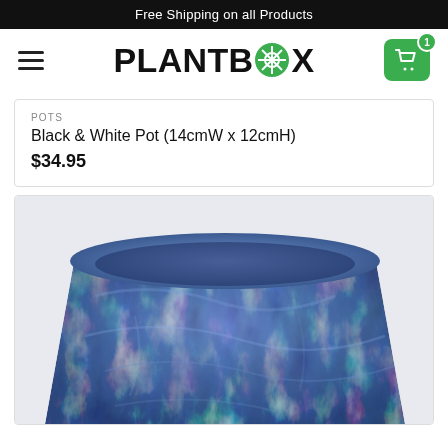Free Shipping on all Products
[Figure (logo): PLANTBOX logo with green circular plant icon]
POTS
Black & White Pot (14cmW x 12cmH)
$34.95
[Figure (photo): Close-up photo of a blue marbled ceramic pot with wide opening, viewed from slightly above]